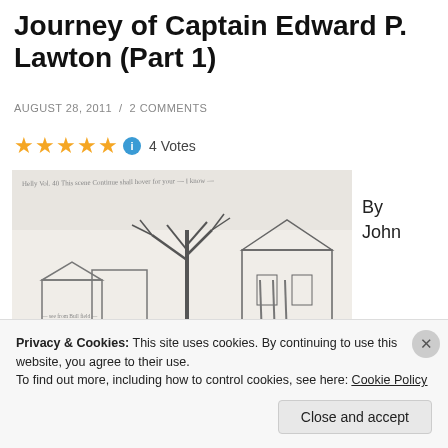Journey of Captain Edward P. Lawton (Part 1)
AUGUST 28, 2011 / 2 COMMENTS
4 Votes
[Figure (illustration): A black and white pencil sketch showing a street scene with bare trees, a large house with columns, and a crowd of figures. Handwritten text appears at the top of the sketch.]
By John
Privacy & Cookies: This site uses cookies. By continuing to use this website, you agree to their use.
To find out more, including how to control cookies, see here: Cookie Policy
Close and accept